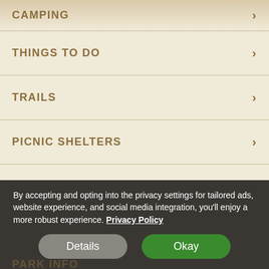CAMPING
THINGS TO DO
TRAILS
PICNIC SHELTERS
PROGRAMS & EVENTS
By accepting and opting into the privacy settings for tailored ads, website experience, and social media integration, you'll enjoy a more robust experience. Privacy Policy
Details
Okay